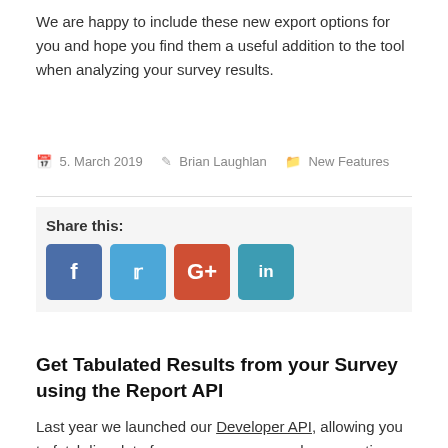We are happy to include these new export options for you and hope you find them a useful addition to the tool when analyzing your survey results.
5. March 2019   Brian Laughlan   New Features
Share this:
[Figure (infographic): Social media share buttons: Facebook (blue), Twitter (light blue), Google+ (orange-red), LinkedIn (teal)]
Get Tabulated Results from your Survey using the Report API
Last year we launched our Developer API, allowing you to fetch live data from your surveys, such as question content and individual responses with answers.